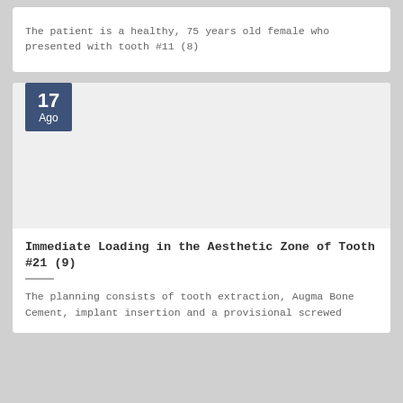The patient is a healthy, 75 years old female who presented with tooth #11 (8)
[Figure (photo): Gray placeholder image block with a date badge showing '17 Ago' in a dark blue square in the top-left corner]
Immediate Loading in the Aesthetic Zone of Tooth #21 (9)
The planning consists of tooth extraction, Augma Bone Cement, implant insertion and a provisional screwed